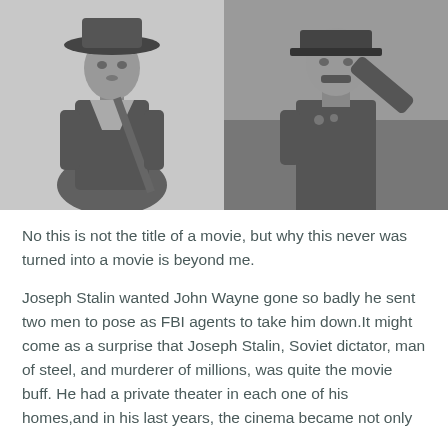[Figure (photo): Two black and white photos side by side. Left: John Wayne in cowboy hat holding a rifle. Right: Joseph Stalin in military uniform with arm raised.]
No this is not the title of a movie, but why this never was turned into a movie is beyond me.
Joseph Stalin wanted John Wayne gone so badly he sent two men to pose as FBI agents to take him down.It might come as a surprise that Joseph Stalin, Soviet dictator, man of steel, and murderer of millions, was quite the movie buff. He had a private theater in each one of his homes,and in his last years, the cinema became not only